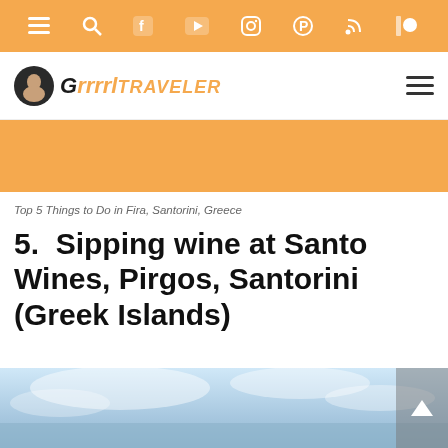Navigation bar with menu, search, Facebook, YouTube, Instagram, Pinterest, RSS, Patreon icons
[Figure (logo): Grrrltraveler logo with avatar icon and hamburger menu]
[Figure (other): Orange banner/advertisement area]
Top 5 Things to Do in Fira, Santorini, Greece
5.  Sipping wine at Santo Wines, Pirgos, Santorini (Greek Islands)
“The sunset and amazing view forced a stop  but the taste of the wine held me there. @Santo_wines”
[Figure (photo): Partially visible photo of what appears to be a wine glass or scenic view at Santo Wines with blue sky background]